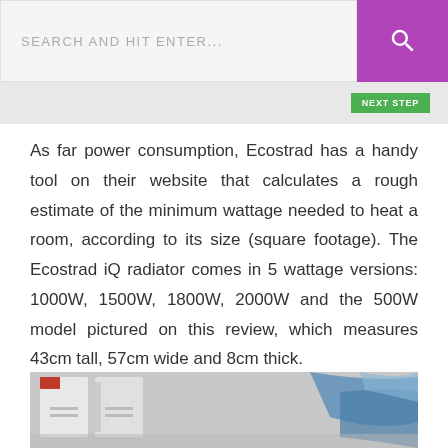SEARCH AND HIT ENTER...
As far power consumption, Ecostrad has a handy tool on their website that calculates a rough estimate of the minimum wattage needed to heat a room, according to its size (square footage). The Ecostrad iQ radiator comes in 5 wattage versions: 1000W, 1500W, 1800W, 2000W and the 500W model pictured on this review, which measures 43cm tall, 57cm wide and 8cm thick.
[Figure (photo): Photo of Ecostrad iQ radiator parts/packaging on the floor]